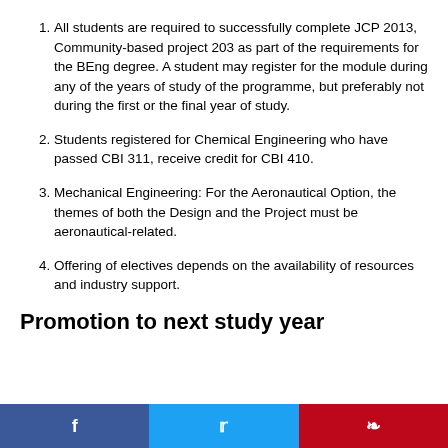All students are required to successfully complete JCP 2013, Community-based project 203 as part of the requirements for the BEng degree. A student may register for the module during any of the years of study of the programme, but preferably not during the first or the final year of study.
Students registered for Chemical Engineering who have passed CBI 311, receive credit for CBI 410.
Mechanical Engineering: For the Aeronautical Option, the themes of both the Design and the Project must be aeronautical-related.
Offering of electives depends on the availability of resources and industry support.
Promotion to next study year